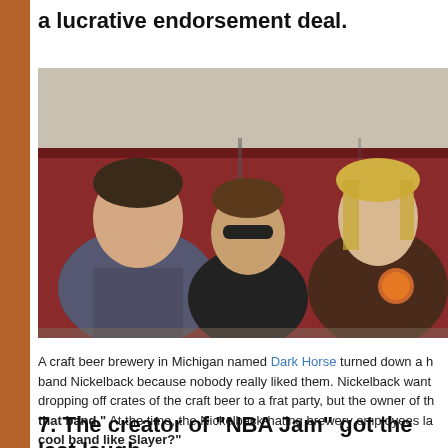a lucrative endorsement deal.
[Figure (photo): Three men standing in front of a red truck or trailer. The man on the left has dark hair and wears a dark graphic t-shirt. The man in the middle wears sunglasses and a black t-shirt. The man on the right has long blond hair and wears a dark brown t-shirt with a circular logo.]
A craft beer brewery in Michigan named Dark Horse turned down a h[uge endorsement deal from the] band Nickelback because nobody really liked them. Nickelback want[ed to be photographed] dropping off crates of the craft beer to a frat party, but the owner of th[e brewery said "I don't like] that band." At the time, the Nickelback-hating brewery employees la[ughed and asked "Why not a] cool band like Slayer?"
7. The creator of “NBA Jam” got the last laugh